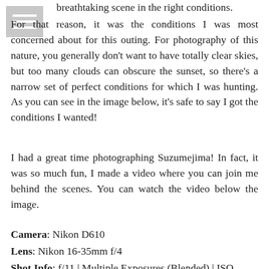breathtaking scene in the right conditions.
[Figure (other): Hamburger menu icon (three horizontal white bars on grey background)]
For that reason, it was the conditions I was most concerned about for this outing. For photography of this nature, you generally don't want to have totally clear skies, but too many clouds can obscure the sunset, so there's a narrow set of perfect conditions for which I was hunting. As you can see in the image below, it's safe to say I got the conditions I wanted!
I had a great time photographing Suzumejima! In fact, it was so much fun, I made a video where you can join me behind the scenes. You can watch the video below the image.
Camera: Nikon D610
Lens: Nikon 16-35mm f/4
Shot Info: f/11 | Multiple Exposures (Blended) | ISO